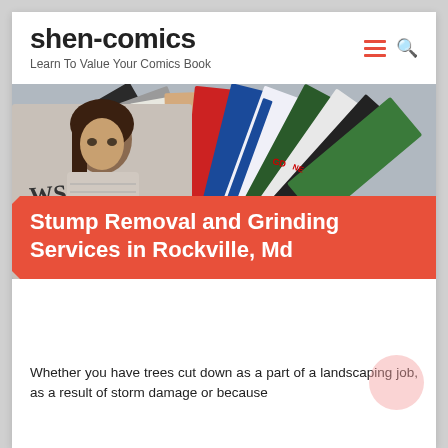shen-comics
Learn To Value Your Comics Book
[Figure (photo): Hero image showing a fan of magazines and comic books spread out, with a woman on the left holding/wearing a WSJ newspaper, colorful magazine covers fanning out to the right.]
Stump Removal and Grinding Services in Rockville, Md
Whether you have trees cut down as a part of a landscaping job, as a result of storm damage or because